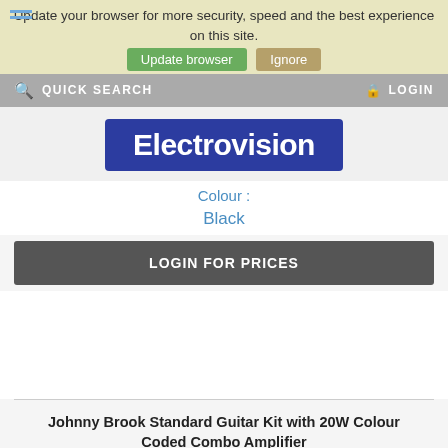Update your browser for more security, speed and the best experience on this site.
QUICK SEARCH  LOGIN
[Figure (logo): Electrovision logo — white bold text on dark blue rectangle background]
Colour :
Black
LOGIN FOR PRICES
Johnny Brook Standard Guitar Kit with 20W Colour Coded Combo Amplifier